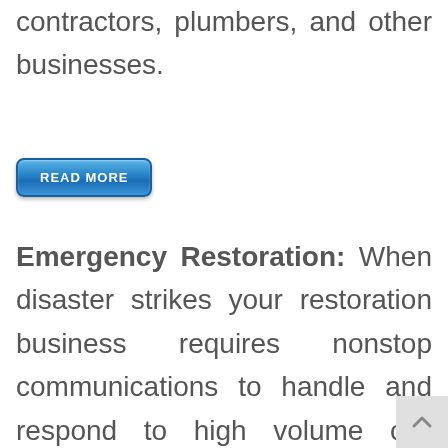contractors, plumbers, and other businesses.
[Figure (other): Blue READ MORE button]
Emergency Restoration: When disaster strikes your restoration business requires nonstop communications to handle and respond to high volume call surges in a small window of time. A natural disaster like hurricanes, floods, and fire can drastically increase your call volume without notice and it best to